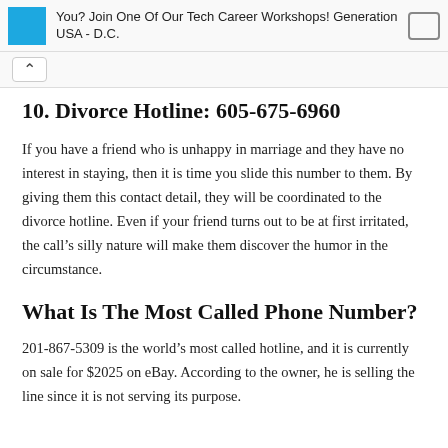You? Join One Of Our Tech Career Workshops! Generation USA - D.C.
10. Divorce Hotline: 605-675-6960
If you have a friend who is unhappy in marriage and they have no interest in staying, then it is time you slide this number to them. By giving them this contact detail, they will be coordinated to the divorce hotline. Even if your friend turns out to be at first irritated, the call’s silly nature will make them discover the humor in the circumstance.
What Is The Most Called Phone Number?
201-867-5309 is the world’s most called hotline, and it is currently on sale for $2025 on eBay. According to the owner, he is selling the line since it is not serving its purpose.